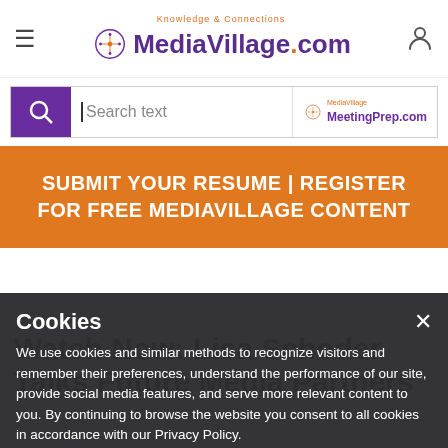MediaVillage.com — Knowledge & Connections
[Figure (screenshot): Search bar with purple magnifying glass icon and MeetingPrep.com logo on the right]
[Figure (infographic): Orange banner: SUBMIT YOUR RESUME | REGISTER FOR FREE MEDIAVILLAGE CONTENT]
Cookies
We use cookies and similar methods to recognize visitors and remember their preferences, understand the performance of our site, provide social media features, and serve more relevant content to you. By continuing to browse the website you consent to all cookies in accordance with our Privacy Policy.
I agree   Read more
Watch Now: Lisa Schoder Talks Future Media Partners